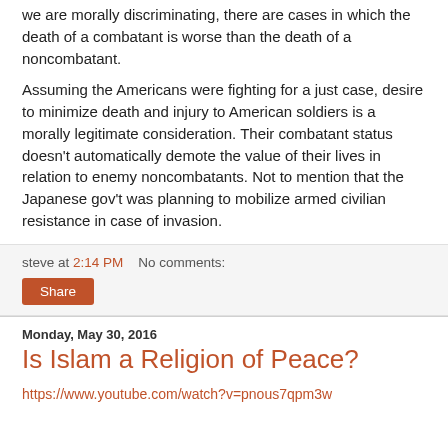we are morally discriminating, there are cases in which the death of a combatant is worse than the death of a noncombatant.
Assuming the Americans were fighting for a just case, desire to minimize death and injury to American soldiers is a morally legitimate consideration. Their combatant status doesn't automatically demote the value of their lives in relation to enemy noncombatants. Not to mention that the Japanese gov't was planning to mobilize armed civilian resistance in case of invasion.
steve at 2:14 PM   No comments:
Share
Monday, May 30, 2016
Is Islam a Religion of Peace?
https://www.youtube.com/watch?v=pnous7qpm3w